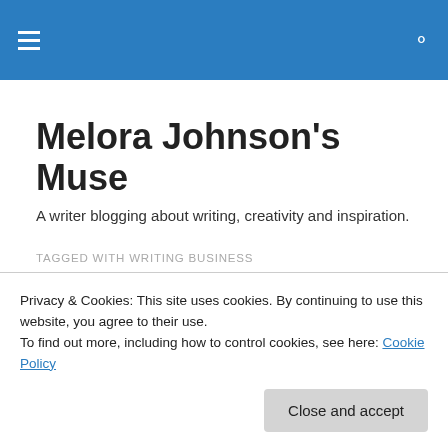Melora Johnson's Muse — site header bar with hamburger menu and search icon
Melora Johnson's Muse
A writer blogging about writing, creativity and inspiration.
TAGGED WITH WRITING BUSINESS
Editing for Someone Else – Ideas or Just Mechanics?
Privacy & Cookies: This site uses cookies. By continuing to use this website, you agree to their use.
To find out more, including how to control cookies, see here: Cookie Policy
Close and accept